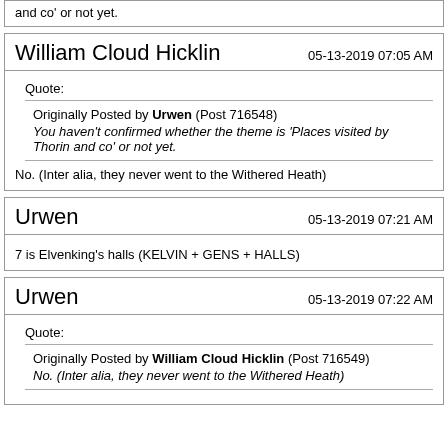and co' or not yet.
William Cloud Hicklin    05-13-2019 07:05 AM
Quote:
Originally Posted by Urwen (Post 716548)
You haven't confirmed whether the theme is 'Places visited by Thorin and co' or not yet.
No. (Inter alia, they never went to the Withered Heath)
Urwen    05-13-2019 07:21 AM
7 is Elvenking's halls (KELVIN + GENS + HALLS)
Urwen    05-13-2019 07:22 AM
Quote:
Originally Posted by William Cloud Hicklin (Post 716549)
No. (Inter alia, they never went to the Withered Heath)